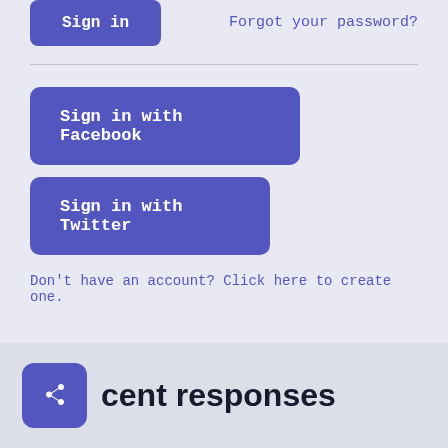Sign in
Forgot your password?
Sign in with Facebook
Sign in with Twitter
Don't have an account? Click here to create one.
cent responses